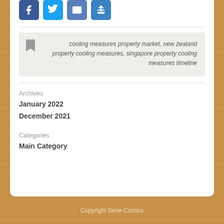[Figure (other): Social sharing icons: Facebook, Twitter, Email, Share buttons]
cooling measures property market, new zealand property cooling measures, singapore property cooling measures timeline
Archives
January 2022
December 2021
Categories
Main Category
Copyright Serie Comics